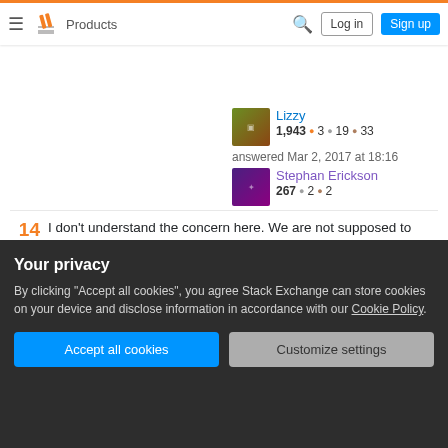Stack Overflow navigation bar with Products, Search, Log in, Sign up
Lizzy 1,943 ● 3 ● 19 ● 33
answered Mar 2, 2017 at 18:16
Stephan Erickson 267 ● 2 ● 2
14  I don't understand the concern here. We are not supposed to change singular to plural programatically. Most of above plural forms are well known, and should not be a concern. If someone has poor English knowledge, he is going to spell any part of your variable incorrectly. Also, going by your logic, do you also recommend using singular forms to refer...
Your privacy
By clicking "Accept all cookies", you agree Stack Exchange can store cookies on your device and disclose information in accordance with our Cookie Policy.
Accept all cookies
Customize settings
matrix/matrixes/matrices, radius/radiuses/radii, etc. I